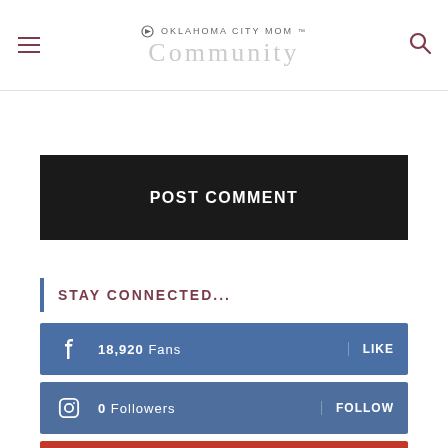Oklahoma City Mom
POST COMMENT
STAY CONNECTED...
18,920 Fans  LIKE
0 Followers  FOLLOW
1,213 Followers  FOLLOW
2,297 Followers  FOLLOW
Protect Yourself & Your Family  Wegmans